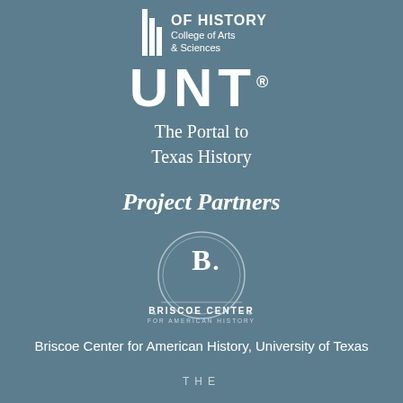[Figure (logo): University of North Texas Department of History, College of Arts & Sciences logo with striped column icon, large UNT text, and 'The Portal to Texas History' tagline]
Project Partners
[Figure (logo): Briscoe Center for American History circular logo with B and C initials, decorative ring, and text 'BRISCOE CENTER FOR AMERICAN HISTORY']
Briscoe Center for American History, University of Texas
THE